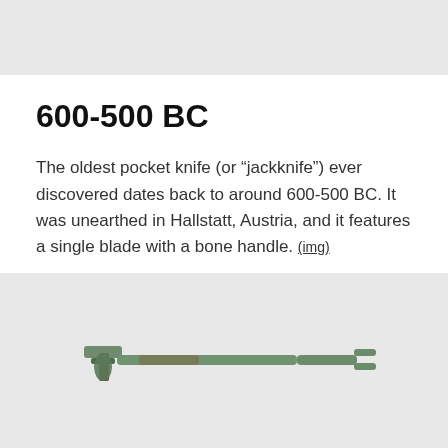[Figure (other): Top gray bar area, continuation of previous page content]
600-500 BC
The oldest pocket knife (or “jackknife”) ever discovered dates back to around 600-500 BC. It was unearthed in Hallstatt, Austria, and it features a single blade with a bone handle. (img)
[Figure (photo): Ancient pocket knife from Hallstatt, Austria, dating to 600-500 BC. Shows a small bronze/bone handled folding knife with a single blade against a light gray background.]